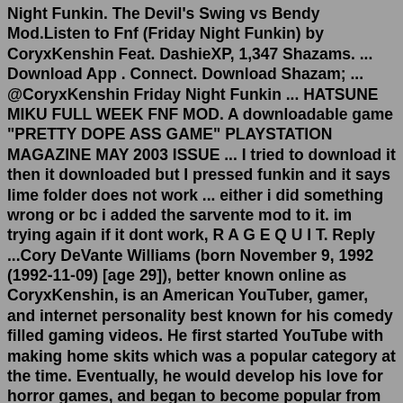Night Funkin. The Devil's Swing vs Bendy Mod.Listen to Fnf (Friday Night Funkin) by CoryxKenshin Feat. DashieXP, 1,347 Shazams. ... Download App . Connect. Download Shazam; ... @CoryxKenshin Friday Night Funkin ... HATSUNE MIKU FULL WEEK FNF MOD. A downloadable game "PRETTY DOPE ASS GAME" PLAYSTATION MAGAZINE MAY 2003 ISSUE ... I tried to download it then it downloaded but I pressed funkin and it says lime folder does not work ... either i did something wrong or bc i added the sarvente mod to it. im trying again if it dont work, R A G E Q U I T. Reply ...Cory DeVante Williams (born November 9, 1992 (1992-11-09) [age 29]), better known online as CoryxKenshin, is an American YouTuber, gamer, and internet personality best known for his comedy filled gaming videos. He first started YouTube with making home skits which was a popular category at the time. Eventually, he would develop his love for horror games, and began to become popular from videos ...To play Friday Night Funkin games, you just need to go